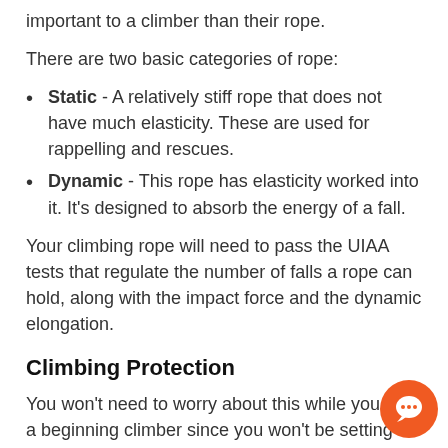important to a climber than their rope.
There are two basic categories of rope:
Static - A relatively stiff rope that does not have much elasticity. These are used for rappelling and rescues.
Dynamic - This rope has elasticity worked into it. It's designed to absorb the energy of a fall.
Your climbing rope will need to pass the UIAA tests that regulate the number of falls a rope can hold, along with the impact force and the dynamic elongation.
Climbing Protection
You won't need to worry about this while you are a beginning climber since you won't be setting anchors or placing protection on the route.